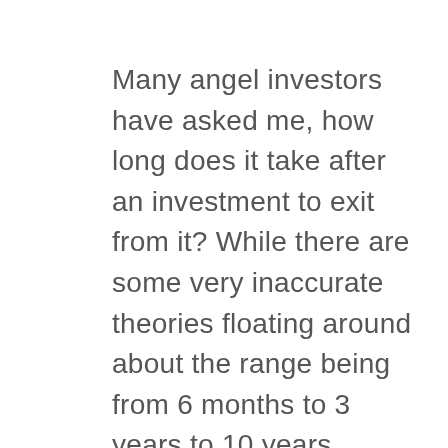Many angel investors have asked me, how long does it take after an investment to exit from it? While there are some very inaccurate theories floating around about the range being from 6 months to 3 years to 10 years, let’s look at the data that we have been collecting for the last few months for our upcoming foray into the venture